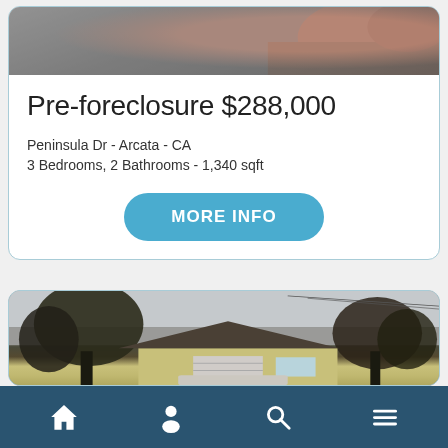[Figure (photo): Top portion of a property photo showing a driveway/curb area with brick edging, partially visible]
Pre-foreclosure $288,000
Peninsula Dr - Arcata - CA
3 Bedrooms, 2 Bathrooms - 1,340 sqft
MORE INFO
[Figure (photo): Exterior photo of a small single-story yellow house with a garage door, surrounded by bare trees under an overcast sky]
Navigation bar with home, profile, search, and menu icons